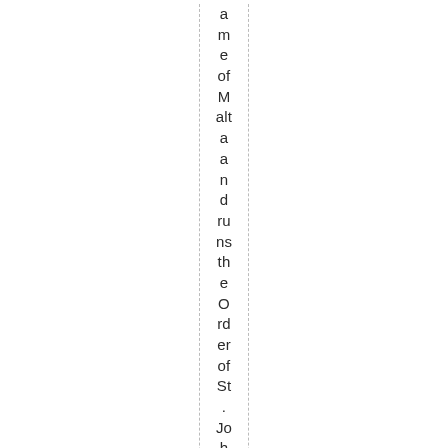ame of Malta and runs the Order of St. John. Queen Eliz